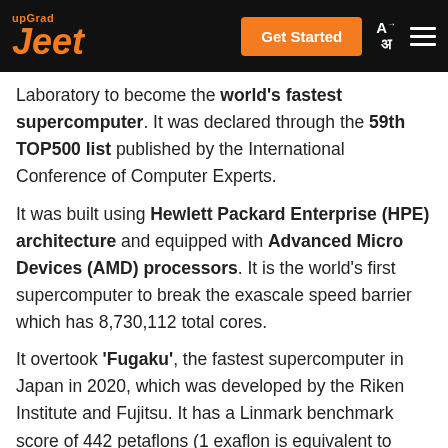upGrad Jeet | Get Started
Laboratory to become the world's fastest supercomputer. It was declared through the 59th TOP500 list published by the International Conference of Computer Experts.
It was built using Hewlett Packard Enterprise (HPE) architecture and equipped with Advanced Micro Devices (AMD) processors. It is the world's first supercomputer to break the exascale speed barrier which has 8,730,112 total cores.
It overtook 'Fugaku', the fastest supercomputer in Japan in 2020, which was developed by the Riken Institute and Fujitsu. It has a Linmark benchmark score of 442 petaflons (1 exaflon is equivalent to